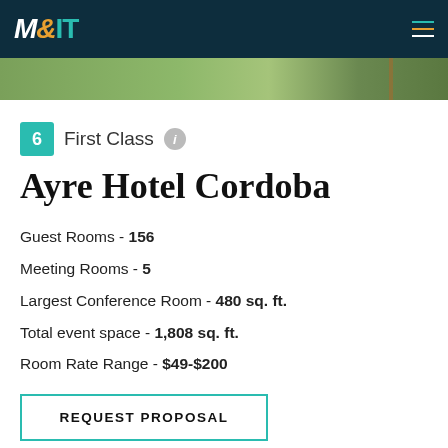M&IT
[Figure (photo): Aerial or landscape photo of hotel grounds with green grass and pathway]
6  First Class
Ayre Hotel Cordoba
Guest Rooms - 156
Meeting Rooms - 5
Largest Conference Room - 480 sq. ft.
Total event space - 1,808 sq. ft.
Room Rate Range - $49-$200
REQUEST PROPOSAL
[Figure (photo): Blue sky photo at bottom of page]